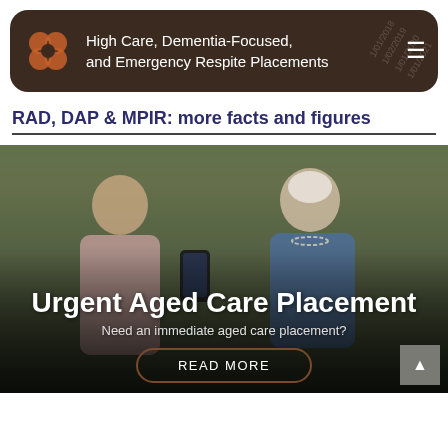High Care, Dementia-Focused, and Emergency Respite Placements
RAD, DAP & MPIR: more facts and figures
[Figure (photo): Two elderly/younger people looking at a smartphone together outdoors on a bench, overlaid with text about urgent aged care placement and a read more button]
Urgent Aged Care Placement
Need an immediate aged care placement?